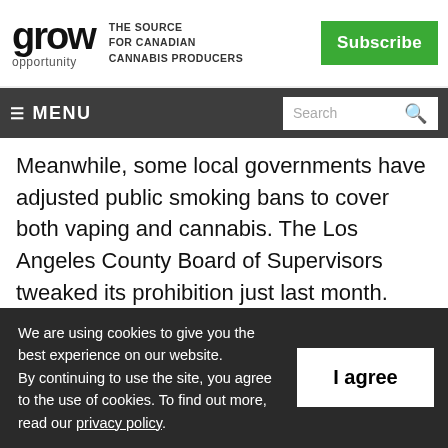grow opportunity – THE SOURCE FOR CANADIAN CANNABIS PRODUCERS
☰ MENU | Search
Meanwhile, some local governments have adjusted public smoking bans to cover both vaping and cannabis. The Los Angeles County Board of Supervisors tweaked its prohibition just last month.
Two views
We are using cookies to give you the best experience on our website. By continuing to use the site, you agree to the use of cookies. To find out more, read our privacy policy.